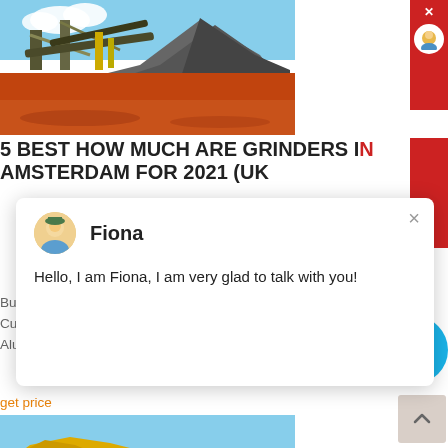[Figure (photo): Mining/quarry facility with conveyor belts, machinery, gravel piles and red dirt ground against blue sky]
5 BEST HOW MUCH ARE GRINDERS IN AMSTERDAM FOR 2021 (UK
[Figure (screenshot): Chat popup with avatar of Fiona, message: Hello, I am Fiona, I am very glad to talk with you!]
Bulldog Bong. Updated On Nov 2021. 830 Reviews Studied. Customer Ratings. Affiliate Disclosure. 1. Anpro Premium Aluminum Grinder with Sifter and Magnetic Top for Dry He
get price
[Figure (photo): Yellow construction/mining machine against blue sky]